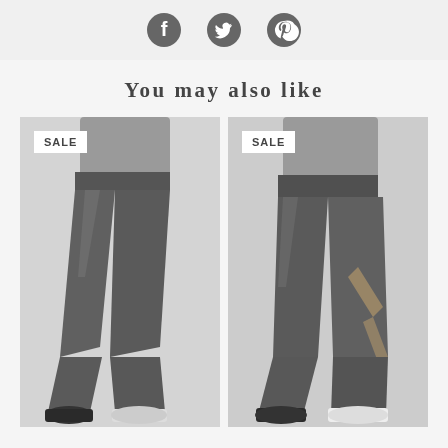[Figure (illustration): Social media icons: Facebook, Twitter, Pinterest in dark grey]
You may also like
[Figure (photo): Woman wearing dark grey athletic leggings, side view, with SALE badge in upper left]
[Figure (photo): Woman wearing dark grey athletic leggings with mesh detail panel, side view, with SALE badge in upper left]